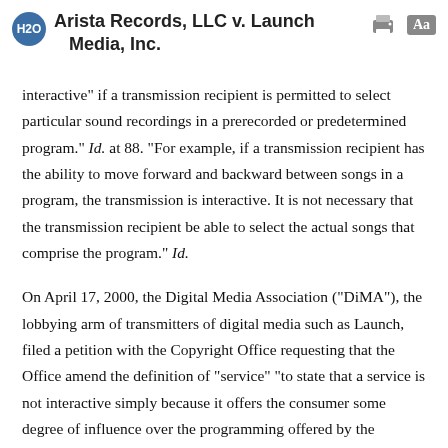Arista Records, LLC v. Launch Media, Inc.
interactive" if a transmission recipient is permitted to select particular sound recordings in a prerecorded or predetermined program." Id. at 88. "For example, if a transmission recipient has the ability to move forward and backward between songs in a program, the transmission is interactive. It is not necessary that the transmission recipient be able to select the actual songs that comprise the program." Id.
On April 17, 2000, the Digital Media Association ("DiMA"), the lobbying arm of transmitters of digital media such as Launch, filed a petition with the Copyright Office requesting that the Office amend the definition of "service" "to state that a service is not interactive simply because it offers the consumer some degree of influence over the programming offered by the webcaster." DiMA asked the Copyright Office to adopt the following as a rule: